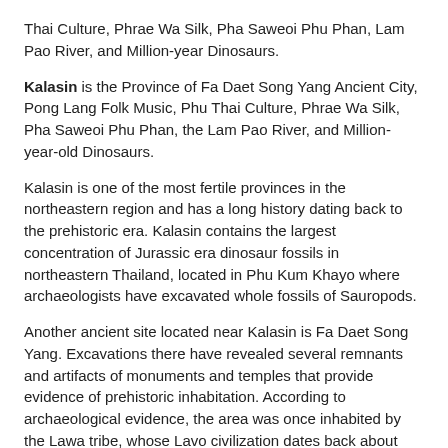Thai Culture, Phrae Wa Silk, Pha Saweoi Phu Phan, Lam Pao River, and Million-year Dinosaurs.
Kalasin is the Province of Fa Daet Song Yang Ancient City, Pong Lang Folk Music, Phu Thai Culture, Phrae Wa Silk, Pha Saweoi Phu Phan, the Lam Pao River, and Million-year-old Dinosaurs.
Kalasin is one of the most fertile provinces in the northeastern region and has a long history dating back to the prehistoric era. Kalasin contains the largest concentration of Jurassic era dinosaur fossils in northeastern Thailand, located in Phu Kum Khayo where archaeologists have excavated whole fossils of Sauropods.
Another ancient site located near Kalasin is Fa Daet Song Yang. Excavations there have revealed several remnants and artifacts of monuments and temples that provide evidence of prehistoric inhabitation. According to archaeological evidence, the area was once inhabited by the Lawa tribe, whose Lavo civilization dates back about 1,600 years.
Modern Kalasin was established during the Ratanakosin period in 1793 when Thao Somphamit and his troops escaped from the left bank of the Mekong River and settled beside the Pao River, which was called 'Ban Kaeng Samrong.' Thao Somphamit then sent tribute to King Rama I the